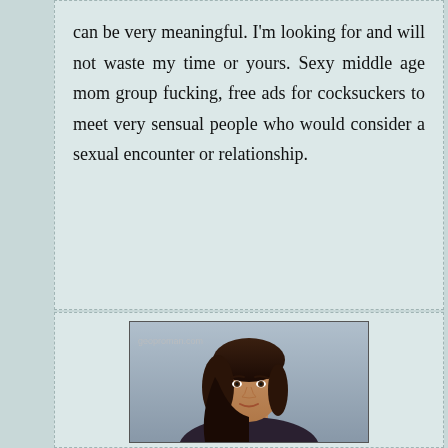can be very meaningful. I'm looking for and will not waste my time or yours. Sexy middle age mom group fucking, free ads for cocksuckers to meet very sensual people who would consider a sexual encounter or relationship.
[Figure (photo): Photo of a young woman with dark hair against a grey background, with watermark 'geoproman.com']